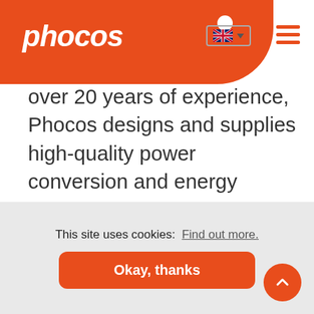[Figure (logo): Phocos company logo — white italic text 'phocos' with a white dot on orange rounded background]
over 20 years of experience, Phocos designs and supplies high-quality power conversion and energy storage solutions that provide reliable power Anywhere, Anytime, Any-GridTM. With over 3 billion people in the world living without access to reliable power, we have work to do, and we want you to join…
This site uses cookies:  Find out more.
Okay, thanks